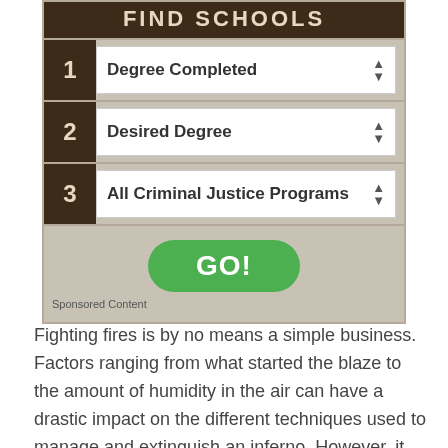[Figure (screenshot): A 'Find Schools' widget with three dropdown fields: 1) Degree Completed, 2) Desired Degree, 3) All Criminal Justice Programs, and a green GO! button, with a Sponsored Content label.]
Fighting fires is by no means a simple business. Factors ranging from what started the blaze to the amount of humidity in the air can have a drastic impact on the different techniques used to manage and extinguish an inferno. However, it would seem to be common sense that the number one goal when it comes to a large scale blaze is putting it out.